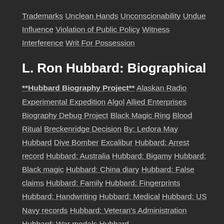Trademarks Unclean Hands Unconscionability Undue Influence Violation of Public Policy Witness Interference Writ For Possession
L. Ron Hubbard: Biographical
**Hubbard Biography Project** Alaskan Radio Experimental Expedition Algol Allied Enterprises Biography Debug Project Black Magic Ring Blood Ritual Breckenridge Decision By: Ledora May Hubbard Dive Bomber Excalibur Hubbard: Arrest record Hubbard: Australia Hubbard: Bigamy Hubbard: Black magic Hubbard: China diary Hubbard: False claims Hubbard: Family Hubbard: Fingerprints Hubbard: Handwriting Hubbard: Medical Hubbard: US Navy records Hubbard: Veteran's Administration Hubbard: War medals Hubbard